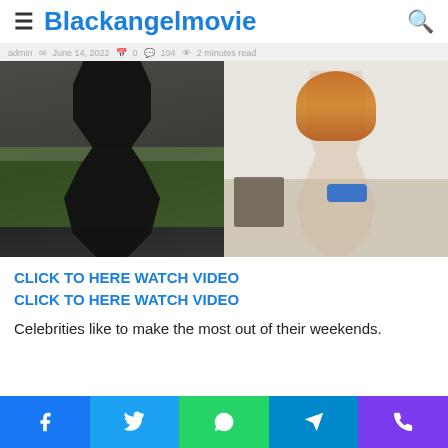Blackangelmovie
[Figure (photo): Two photos side by side: left shows a woman in a black sheer outfit outdoors on a patio with greenery; right shows a woman with orange/red hair in white top and blue thong underwear with tattoos, facing away from camera.]
CLICK TO HERE WATCH VIDEO
CLICK TO HERE WATCH VIDEO
Celebrities like to make the most out of their weekends.
Facebook Twitter WhatsApp Telegram Phone share buttons